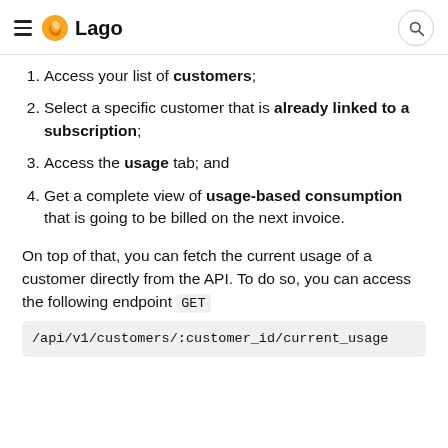Lago
Access your list of customers;
Select a specific customer that is already linked to a subscription;
Access the usage tab; and
Get a complete view of usage-based consumption that is going to be billed on the next invoice.
On top of that, you can fetch the current usage of a customer directly from the API. To do so, you can access the following endpoint GET /api/v1/customers/:customer_id/current_usage